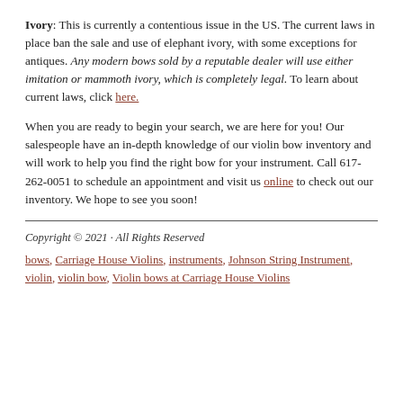Ivory: This is currently a contentious issue in the US. The current laws in place ban the sale and use of elephant ivory, with some exceptions for antiques. Any modern bows sold by a reputable dealer will use either imitation or mammoth ivory, which is completely legal. To learn about current laws, click here.
When you are ready to begin your search, we are here for you! Our salespeople have an in-depth knowledge of our violin bow inventory and will work to help you find the right bow for your instrument. Call 617-262-0051 to schedule an appointment and visit us online to check out our inventory. We hope to see you soon!
Copyright © 2021 · All Rights Reserved
bows, Carriage House Violins, instruments, Johnson String Instrument, violin, violin bow, Violin bows at Carriage House Violins